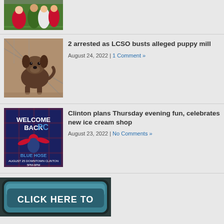[Figure (photo): Football game photo, players on green field, partially cropped at top]
[Figure (photo): Brown dog (chocolate Labrador) standing on dirt ground behind chain-link fence]
2 arrested as LCSO busts alleged puppy mill
August 24, 2022 | 1 Comment »
[Figure (photo): Welcome Back FC Blue Hose event poster - August 25 Downtown Clinton 5PM-9PM]
Clinton plans Thursday evening fun, celebrates new ice cream shop
August 23, 2022 | No Comments »
[Figure (photo): Click Here To button graphic with teal/blue rounded rectangle design]